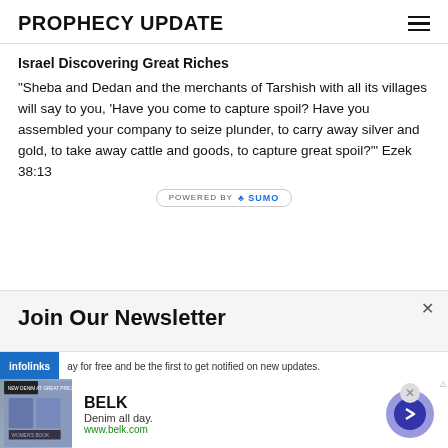PROPHECY UPDATE
Israel Discovering Great Riches
"Sheba and Dedan and the merchants of Tarshish with all its villages will say to you, 'Have you come to capture spoil? Have you assembled your company to seize plunder, to carry away silver and gold, to take away cattle and goods, to capture great spoil?'" Ezek 38:13
[Figure (logo): Powered by Sumo badge]
Join Our Newsletter
ay for free and be the first to get notified on new updates.
[Figure (infographic): Infolinks advertisement bar with BELK denim ad]